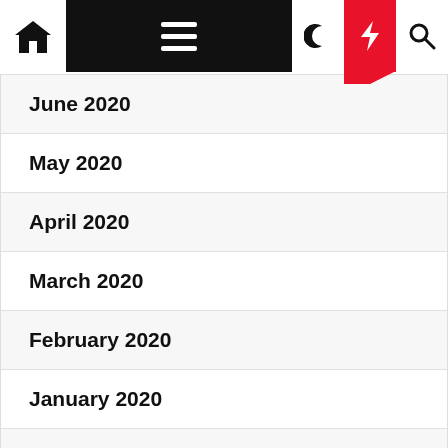Navigation bar with home, menu, moon, bolt, search icons
June 2020
May 2020
April 2020
March 2020
February 2020
January 2020
December 2019
November 2019
Categories